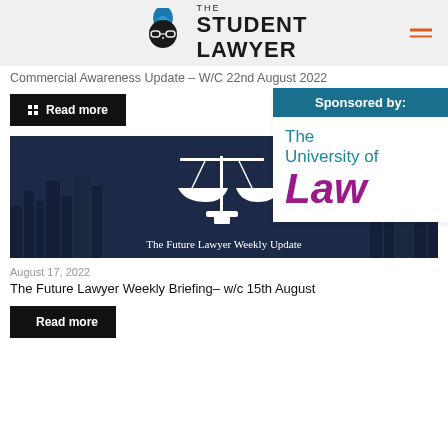THE STUDENT LAWYER
Commercial Awareness Update – W/C 22nd August 2022
Read more
[Figure (logo): The University of Law logo with teal and purple text]
[Figure (illustration): Dark blue cityscape with scales of justice and text 'The Future Lawyer Weekly Update']
August 17, 2022
The Future Lawyer Weekly Briefing– w/c 15th August
Read more